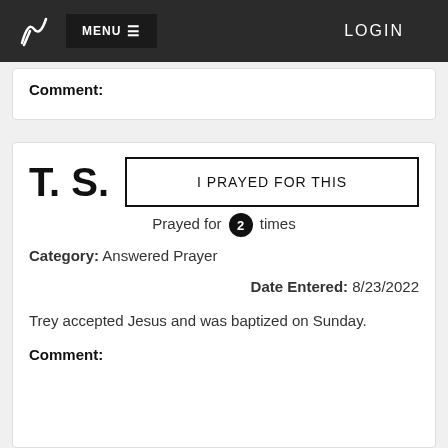MENU ≡   LOGIN
Comment:
T. S.
I PRAYED FOR THIS
Prayed for 2 times
Category: Answered Prayer
Date Entered: 8/23/2022
Trey accepted Jesus and was baptized on Sunday.
Comment: